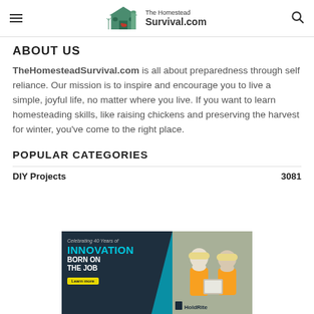The Homestead Survival.com
ABOUT US
TheHomesteadSurvival.com is all about preparedness through self reliance. Our mission is to inspire and encourage you to live a simple, joyful life, no matter where you live. If you want to learn homesteading skills, like raising chickens and preserving the harvest for winter, you've come to the right place.
POPULAR CATEGORIES
DIY Projects 3081
[Figure (screenshot): Advertisement banner: Celebrating 40 Years of INNOVATION BORN ON THE JOB by HoldRite, with workers in hard hats. Learn more button.]